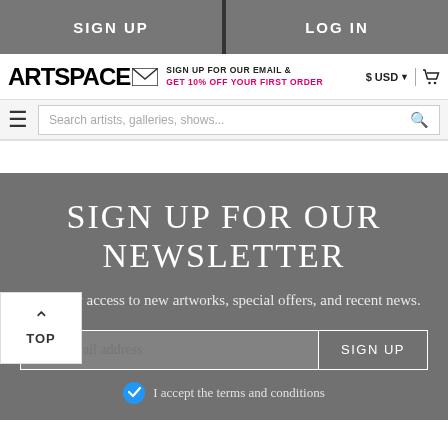SIGN UP | LOG IN
[Figure (screenshot): Artspace website header with logo, email signup promo, currency selector, cart icon, hamburger menu, and search bar]
SIGN UP FOR OUR NEWSLETTER
Get early access to new artworks, special offers, and recent news.
Your email address | SIGN UP
I accept the terms and conditions